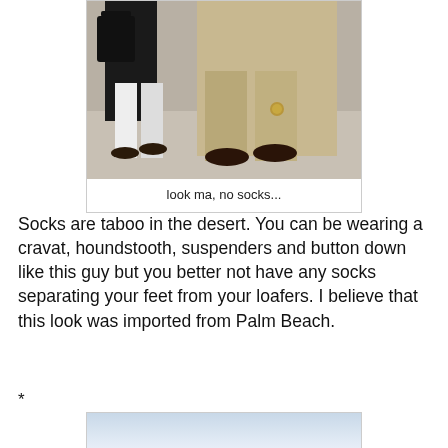[Figure (photo): Photo of people standing, showing legs and feet wearing loafers without socks. One person wears khaki/linen trousers, another wears white pants. A bag is visible in the background.]
look ma, no socks...
Socks are taboo in the desert. You can be wearing a cravat, houndstooth, suspenders and button down like this guy but you better not have any socks separating your feet from your loafers. I believe that this look was imported from Palm Beach.
*
[Figure (photo): Partial photo, bottom of page, showing a light blue/grey sky background.]